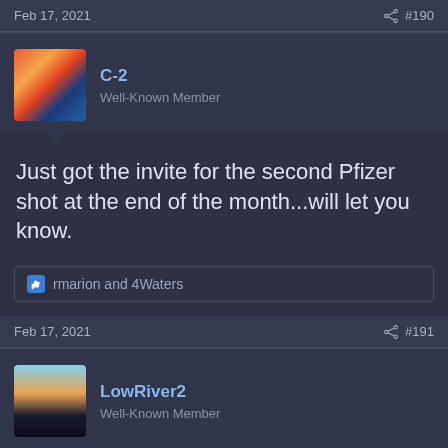Feb 17, 2021  #190
[Figure (photo): Avatar image for user C-2, abstract colorful pattern]
C-2
Well-Known Member
Just got the invite for the second Pfizer shot at the end of the month...will let you know.
rmarion and 4Waters
Feb 17, 2021  #191
[Figure (photo): Avatar image for user LowRiver2, sunset/landscape photo]
LowRiver2
Well-Known Member
Just got 2nd shot Moderna at Elysian Park Academy, will post up effects tomorrow